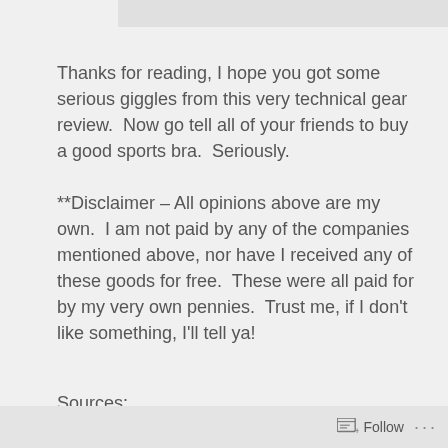[Figure (photo): Top partial image placeholder, light gray bar at top of page]
Thanks for reading, I hope you got some serious giggles from this very technical gear review.  Now go tell all of your friends to buy a good sports bra.  Seriously.
**Disclaimer – All opinions above are my own.  I am not paid by any of the companies mentioned above, nor have I received any of these goods for free.  These were all paid for by my very own pennies.  Trust me, if I don't like something, I'll tell ya!
Sources:
Kristin Wiig gif:  www.tumblr.com (found on giphy.com)
(sorry, couldn't find the actual person who made it.  but
Follow  ...